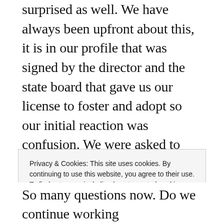surprised as well. We have always been upfront about this, it is in our profile that was signed by the director and the state board that gave us our license to foster and adopt so our initial reaction was confusion. We were asked to foster the boys only if we would consider adopting them and we agreed to that and now we weren't being considered as a family for them. Again confusion, which produced many other emotions ranging from sadness to anger.
Privacy & Cookies: This site uses cookies. By continuing to use this website, you agree to their use.
To find out more, including how to control cookies, see here: Cookie Policy
Close and accept
So many questions now. Do we continue working